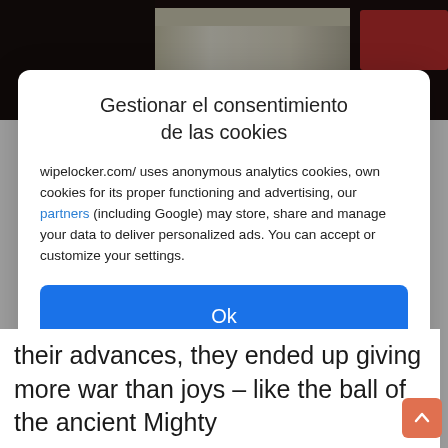[Figure (photo): Cropped photo of a Magic Mouse box on a dark background]
Gestionar el consentimiento de las cookies
wipelocker.com/ uses anonymous analytics cookies, own cookies for its proper functioning and advertising, our partners (including Google) may store, share and manage your data to deliver personalized ads. You can accept or customize your settings.
Ok
Ver preferencias
Política de cookies   Declaración de privacidad   Impressum
their advances, they ended up giving more war than joys – like the ball of the ancient Mighty